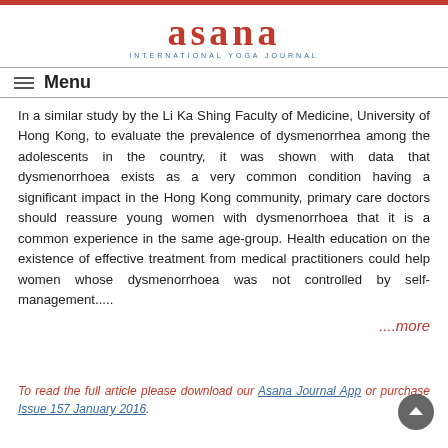asana INTERNATIONAL YOGA JOURNAL
Menu
In a similar study by the Li Ka Shing Faculty of Medicine, University of Hong Kong, to evaluate the prevalence of dysmenorrhea among the adolescents in the country, it was shown with data that dysmenorrhoea exists as a very common condition having a significant impact in the Hong Kong community, primary care doctors should reassure young women with dysmenorrhoea that it is a common experience in the same age-group. Health education on the existence of effective treatment from medical practitioners could help women whose dysmenorrhoea was not controlled by self-management.....
....more
To read the full article please download our Asana Journal App or purchase Issue 157 January 2016.